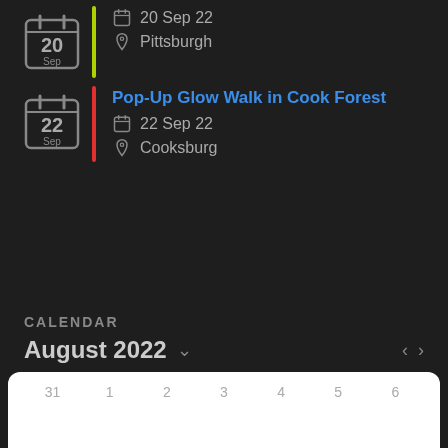[Figure (screenshot): Calendar icon showing date 20 Sep with green accent bar, date label '20 Sep 22', location 'Pittsburgh']
[Figure (screenshot): Calendar icon showing date 22 Sep with red accent bar, event title 'Pop-Up Glow Walk in Cook Forest', date label '22 Sep 22', location 'Cooksburg']
CALENDAR
August 2022
31  1  2  3  4  5  6